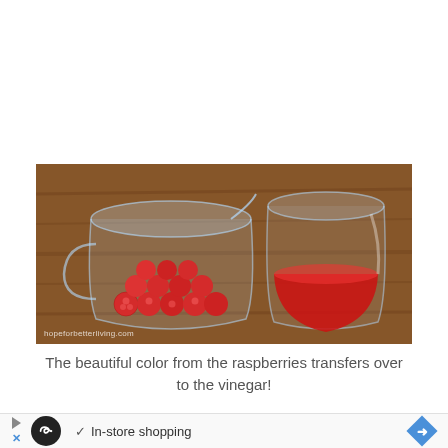[Figure (photo): Two glass measuring cups on a wooden surface. The left cup contains bright red raspberries, the right cup contains deep red raspberry-colored liquid (vinegar). Watermark reads 'hopeforbetterliving.com'.]
The beautiful color from the raspberries transfers over to the vinegar!
[Figure (infographic): Advertisement bar with a play button icon, a black circle with infinity-like logo, a checkmark followed by 'In-store shopping' text, and a blue diamond arrow icon on the right.]